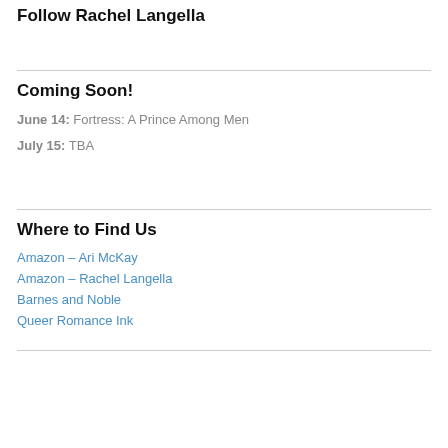Follow Rachel Langella
Coming Soon!
June 14: Fortress: A Prince Among Men
July 15: TBA
Where to Find Us
Amazon – Ari McKay
Amazon – Rachel Langella
Barnes and Noble
Queer Romance Ink